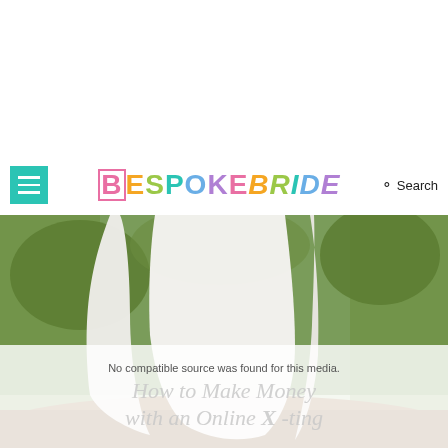[Figure (logo): Bespoke Bride colorful logo with hamburger menu and search button]
[Figure (photo): Wedding dress train on forest ground, bride in white gown in wooded outdoor setting]
No compatible source was found for this media.
How to Make Money with an Online X-Ting